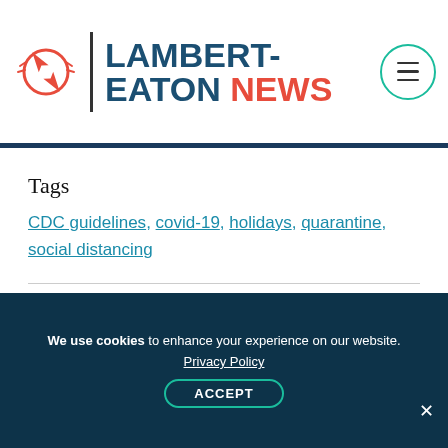LAMBERT-EATON NEWS
Tags
CDC guidelines, covid-19, holidays, quarantine, social distancing
Comments
Leave a comment
We use cookies to enhance your experience on our website. Privacy Policy ACCEPT